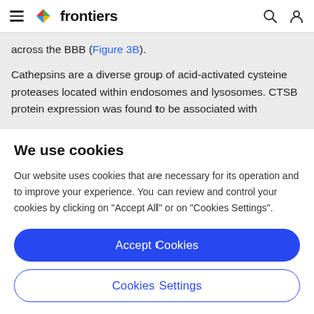frontiers
across the BBB (Figure 3B).
Cathepsins are a diverse group of acid-activated cysteine proteases located within endosomes and lysosomes. CTSB protein expression was found to be associated with
We use cookies
Our website uses cookies that are necessary for its operation and to improve your experience. You can review and control your cookies by clicking on "Accept All" or on "Cookies Settings".
Accept Cookies
Cookies Settings